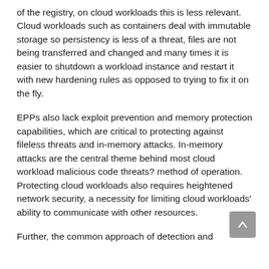of the registry, on cloud workloads this is less relevant. Cloud workloads such as containers deal with immutable storage so persistency is less of a threat, files are not being transferred and changed and many times it is easier to shutdown a workload instance and restart it with new hardening rules as opposed to trying to fix it on the fly.
EPPs also lack exploit prevention and memory protection capabilities, which are critical to protecting against fileless threats and in-memory attacks. In-memory attacks are the central theme behind most cloud workload malicious code threats? method of operation. Protecting cloud workloads also requires heightened network security, a necessity for limiting cloud workloads' ability to communicate with other resources.
Further, the common approach of detection and